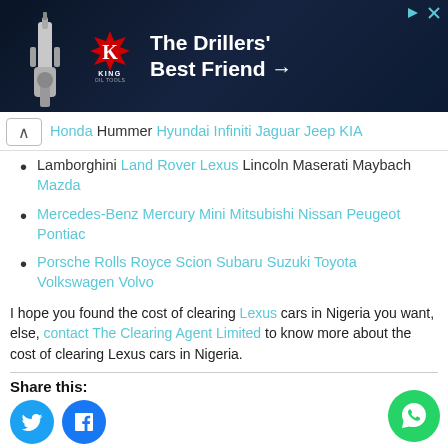[Figure (other): King Oil Tools advertisement banner: 'The Drillers' Best Friend →' with red K logo and drill equipment on dark blue background]
Honda Hummer Hyundai Infiniti Jaguar Jeep KIA
Lamborghini Land Rover Lexus Lincoln Maserati Maybach Mazda
Mercedes-Benz Mercury Mini Mitsubishi Nissan Peugeot Pontiac
Porsche Rolls Royce Scion Subaru Suzuki Toyota Volkswagen Volvo
I hope you found the cost of clearing Lexus cars in Nigeria you want, else, contact The Clearing Agent Limited to know more about the cost of clearing Lexus cars in Nigeria.
Share this: